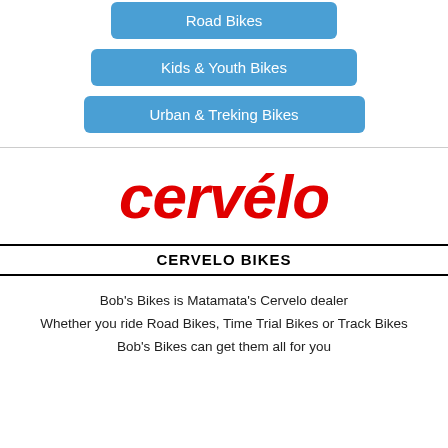Road Bikes
Kids & Youth Bikes
Urban & Treking Bikes
[Figure (logo): Cervelo brand logo in bold red italic font]
CERVELO BIKES
Bob's Bikes is Matamata's Cervelo dealer
Whether you ride Road Bikes, Time Trial Bikes or Track Bikes
Bob's Bikes can get them all for you